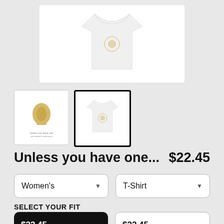[Figure (photo): White women's t-shirt product photo shown against white background, with small illustration on chest area]
[Figure (photo): Two product thumbnails: first shows the graphic design alone (golden illustration with text), second shows the t-shirt with design on it (currently selected, outlined in black)]
Unless you have one...
$22.45
Women's
T-Shirt
SELECT YOUR FIT
$22.45
Fitted
$22.45
Regular Unisex